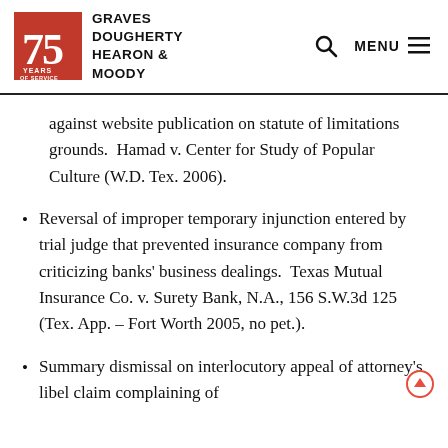[Figure (logo): Graves Dougherty Hearon & Moody law firm logo with 75 Years of Service red badge]
against website publication on statute of limitations grounds.  Hamad v. Center for Study of Popular Culture (W.D. Tex. 2006).
Reversal of improper temporary injunction entered by trial judge that prevented insurance company from criticizing banks' business dealings.  Texas Mutual Insurance Co. v. Surety Bank, N.A., 156 S.W.3d 125 (Tex. App. – Fort Worth 2005, no pet.).
Summary dismissal on interlocutory appeal of attorney's libel claim complaining of